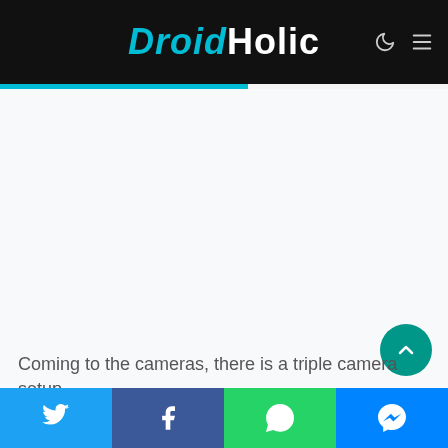DroidHolic
[Figure (screenshot): Large white/light gray blank advertisement or content area below the DroidHolic header]
Coming to the cameras, there is a triple camera setup
[Figure (other): Social share bar with Twitter, Facebook, WhatsApp, and Messenger buttons at the bottom]